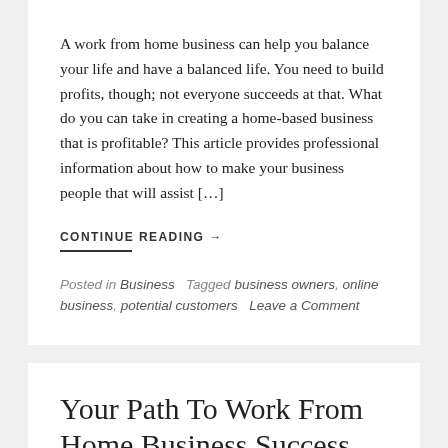A work from home business can help you balance your life and have a balanced life. You need to build profits, though; not everyone succeeds at that. What do you can take in creating a home-based business that is profitable? This article provides professional information about how to make your business people that will assist […]
CONTINUE READING →
Posted in Business   Tagged business owners, online business, potential customers   Leave a Comment
Your Path To Work From Home Business Success Starts Right Here!